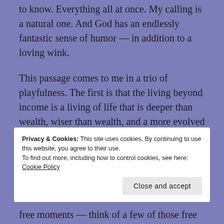to know. Everything all at once. My calling is a natural one. And God has an endlessly fantastic sense of humor — in addition to a loving wink.
This passage comes to me in a trio of playfulness. The first is that the living beyond income is a living of life that is deeper than wealth, wiser than wealth, and a more evolved soul than a wealthy body. There is a
Privacy & Cookies: This site uses cookies. By continuing to use this website, you agree to their use.
To find out more, including how to control cookies, see here: Cookie Policy
free moments — think of a few of those free